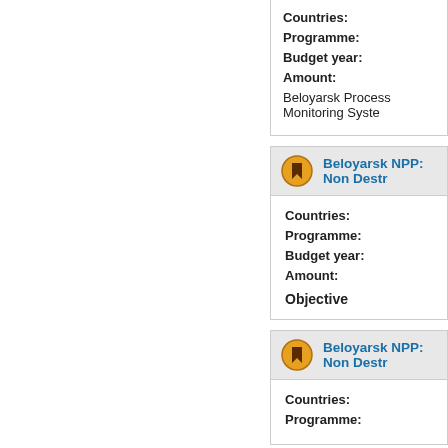Countries:
Programme:
Budget year:
Amount:
Beloyarsk Process Monitoring Syste
Beloyarsk NPP: Non Destr
Countries:
Programme:
Budget year:
Amount:
Objective
Beloyarsk NPP: Non Destr
Countries:
Programme: